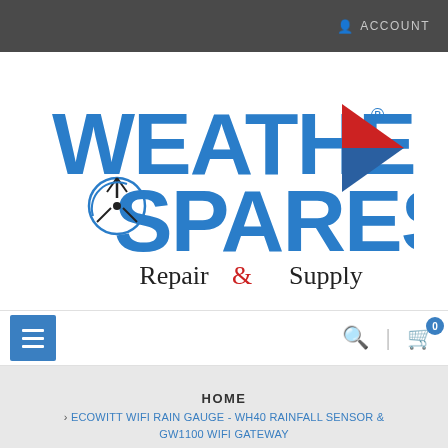ACCOUNT
[Figure (logo): Weather Spares Repair & Supply logo with blue lettering and red/blue arrow graphic]
≡  🔍  🛒 0
HOME > ECOWITT WIFI RAIN GAUGE - WH40 RAINFALL SENSOR & GW1100 WIFI GATEWAY